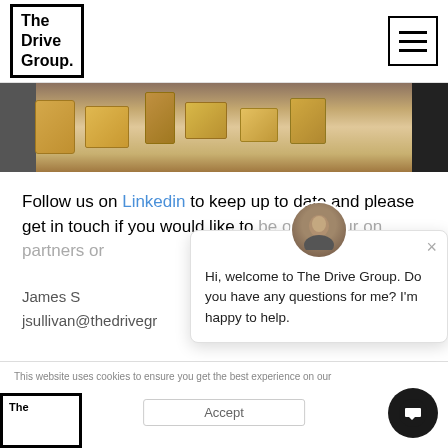The Drive Group. [logo] [hamburger menu]
[Figure (photo): A photo of people around a table with bread and food items, partially visible at top of content area]
Follow us on Linkedin to keep up to date and please get in touch if you would like to be one of our on partners or
James S
jsullivan@thedrivegr
Hi, welcome to The Drive Group. Do you have any questions for me? I'm happy to help.
This website uses cookies to ensure you get the best experience on our
Accept
[Figure (logo): The Drive Group logo in bottom left footer area]